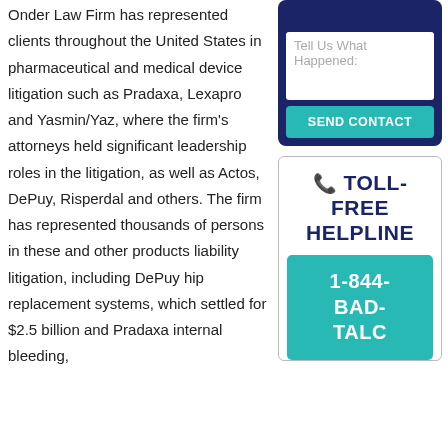Onder Law Firm has represented clients throughout the United States in pharmaceutical and medical device litigation such as Pradaxa, Lexapro and Yasmin/Yaz, where the firm's attorneys held significant leadership roles in the litigation, as well as Actos, DePuy, Risperdal and others. The firm has represented thousands of persons in these and other products liability litigation, including DePuy hip replacement systems, which settled for $2.5 billion and Pradaxa internal bleeding,
[Figure (other): Contact form box with a textarea labeled 'Tell Us What Happened:' and a teal 'SEND CONTACT' button, inside a navy blue rounded rectangle container.]
[Figure (other): Toll-free helpline box with phone icon, text 'TOLL-FREE HELPLINE' in navy blue, and a teal button showing '1-844-BAD-TALC'.]